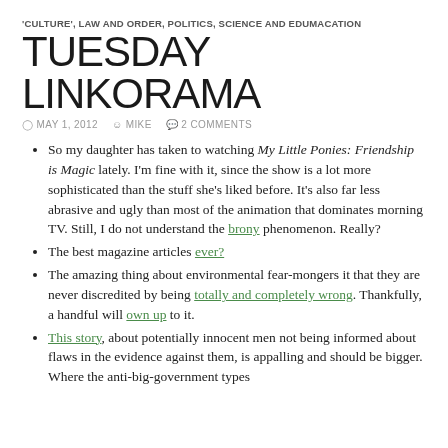'CULTURE', LAW AND ORDER, POLITICS, SCIENCE AND EDUMACATION
TUESDAY LINKORAMA
MAY 1, 2012  MIKE  2 COMMENTS
So my daughter has taken to watching My Little Ponies: Friendship is Magic lately. I'm fine with it, since the show is a lot more sophisticated than the stuff she's liked before. It's also far less abrasive and ugly than most of the animation that dominates morning TV. Still, I do not understand the brony phenomenon. Really?
The best magazine articles ever?
The amazing thing about environmental fear-mongers it that they are never discredited by being totally and completely wrong. Thankfully, a handful will own up to it.
This story, about potentially innocent men not being informed about flaws in the evidence against them, is appalling and should be bigger. Where the anti-big-government types